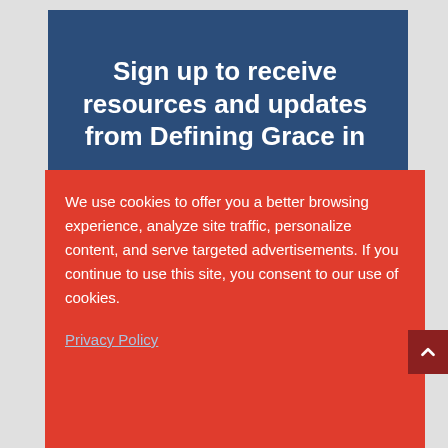Sign up to receive resources and updates from Defining Grace in
We use cookies to offer you a better browsing experience, analyze site traffic, personalize content, and serve targeted advertisements. If you continue to use this site, you consent to our use of cookies.
Privacy Policy
Got it!
Email